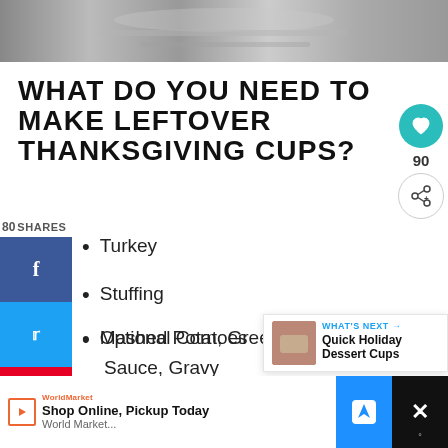[Figure (photo): Close-up photo of silver/metallic utensils or decorative objects, partially visible at top of page]
WHAT DO YOU NEED TO MAKE LEFTOVER THANKSGIVING CUPS?
80 SHARES
Turkey
Stuffing
Mashed Potatoes
Optional Corn, Green Beans, Cranberry Sauce, Gravy
WHAT'S NEXT → Quick Holiday Dessert Cups
Shop Online, Pickup Today
World Market...